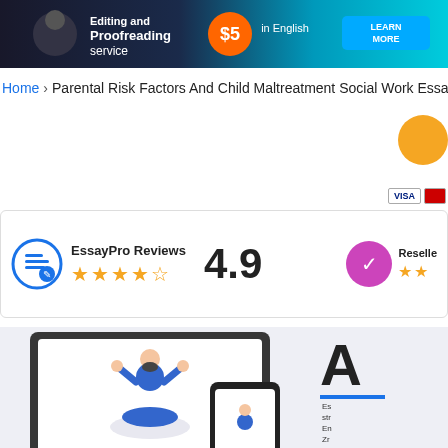[Figure (infographic): Banner advertisement for Editing and Proofreading service with orange price badge, 'in English' text, and LEARN MORE button on blue/dark background]
Home › Parental Risk Factors And Child Maltreatment Social Work Essay
[Figure (infographic): EssayPro Reviews badge with 4.9 rating and 4.5 stars, plus Reseller ratings section with stars]
[Figure (illustration): Hero section showing laptop and phone with meditating man illustration, partial letter A visible with blue underline and description text]